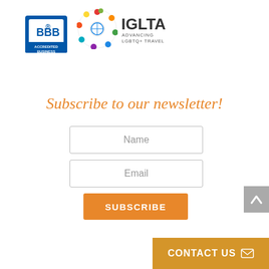[Figure (logo): BBB Accredited Business logo - blue shield with 'BBB' text and 'ACCREDITED BUSINESS' banner]
[Figure (logo): IGLTA Advancing LGBTQ+ Travel logo - colorful circular icon with travel icons and IGLTA text]
Subscribe to our newsletter!
Name
Email
SUBSCRIBE
CONTACT US ✉